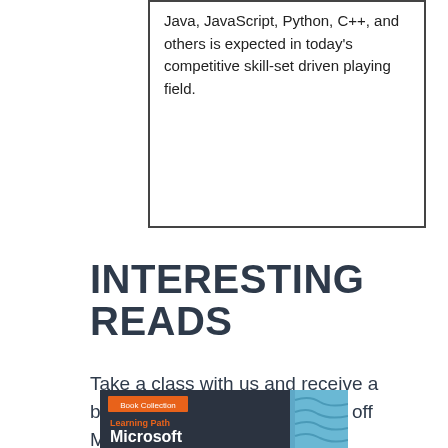Java, JavaScript, Python, C++, and others is expected in today's competitive skill-set driven playing field.
INTERESTING READS
Take a class with us and receive a book of your choosing for 50% off MSRP.
[Figure (illustration): Book cover: 'Book Collection Learning Path Microsoft' with orange and dark background, partial blue image on the right side]